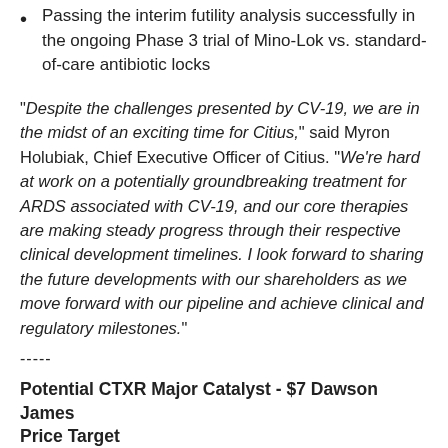Passing the interim futility analysis successfully in the ongoing Phase 3 trial of Mino-Lok vs. standard-of-care antibiotic locks
"Despite the challenges presented by CV-19, we are in the midst of an exciting time for Citius," said Myron Holubiak, Chief Executive Officer of Citius. "We're hard at work on a potentially groundbreaking treatment for ARDS associated with CV-19, and our core therapies are making steady progress through their respective clinical development timelines. I look forward to sharing the future developments with our shareholders as we move forward with our pipeline and achieve clinical and regulatory milestones."
-----
Potential CTXR Major Catalyst - $7 Dawson James Price Target